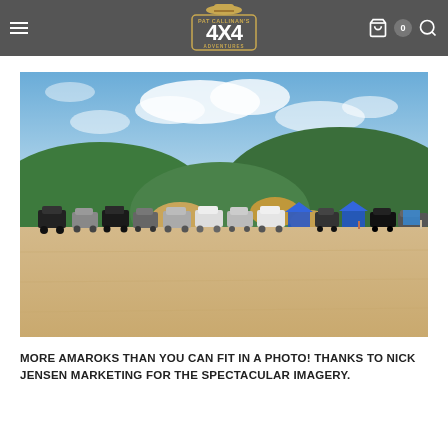Pat Callinan's 4X4 Adventures — navigation bar with hamburger menu, logo, cart (0), search
[Figure (photo): Wide beach scene with a row of Amarok 4x4 vehicles parked on the sand in front of large green sand dunes under a partly cloudy blue sky. Blue event canopies visible among the vehicles. Wide sandy beach in the foreground.]
MORE AMAROKS THAN YOU CAN FIT IN A PHOTO! THANKS TO NICK JENSEN MARKETING FOR THE SPECTACULAR IMAGERY.